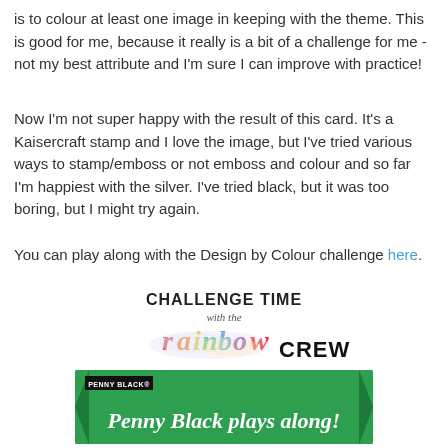is to colour at least one image in keeping with the theme. This is good for me, because it really is a bit of a challenge for me - not my best attribute and I'm sure I can improve with practice!
Now I'm not super happy with the result of this card. It's a Kaisercraft stamp and I love the image, but I've tried various ways to stamp/emboss or not emboss and colour and so far I'm happiest with the silver. I've tried black, but it was too boring, but I might try again.
You can play along with the Design by Colour challenge here.
[Figure (logo): Challenge Time with the rainbow CREW logo — colorful watercolor-style rainbow text with 'CREW' in bold black]
[Figure (illustration): Penny Black green banner with white italic script text reading 'Penny Black plays along!' and a small black Penny Black label in upper left]